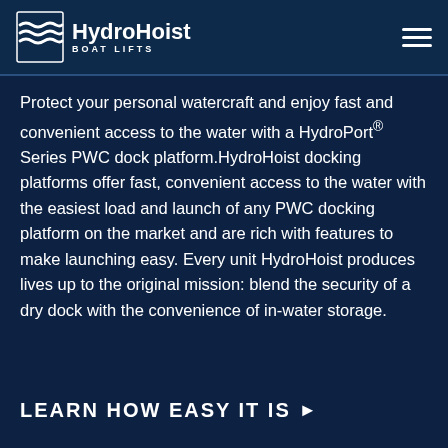HydroHoist BOAT LIFTS
Protect your personal watercraft and enjoy fast and convenient access to the water with a HydroPort® Series PWC dock platform.HydroHoist docking platforms offer fast, convenient access to the water with the easiest load and launch of any PWC docking platform on the market and are rich with features to make launching easy. Every unit HydroHoist produces lives up to the original mission: blend the security of a dry dock with the convenience of in-water storage.
LEARN HOW EASY IT IS ▶